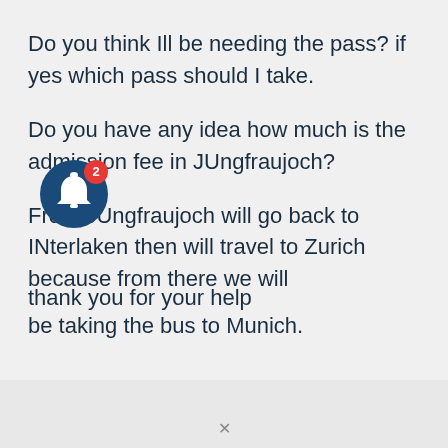Do you think Ill be needing the pass? if yes which pass should I take.
Do you have any idea how much is the admission fee in JUngfraujoch?
From JUngfraujoch will go back to INterlaken then will travel to Zurich because from there we will be taking the bus to Munich.
thank you for your help